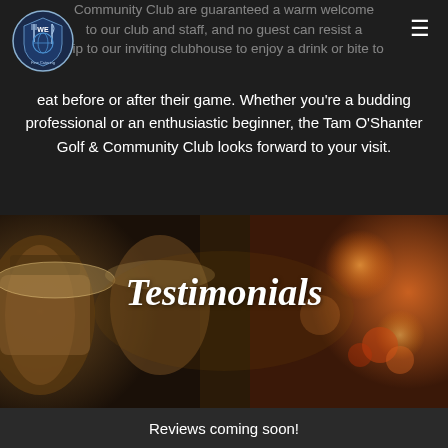[Figure (logo): WE Fine Catering logo — circular shield with fork/knife and globe imagery]
Community Club are guaranteed a warm welcome to our club and staff, and no guest can resist a trip to our inviting clubhouse to enjoy a drink or bite to eat before or after their game. Whether you're a budding professional or an enthusiastic beginner, the Tam O'Shanter Golf & Community Club looks forward to your visit.
[Figure (photo): Blurred background photo of food warming trays/chafing dishes with warm bokeh lighting in amber and brown tones, suggesting a catering buffet setup]
Testimonials
Reviews coming soon!